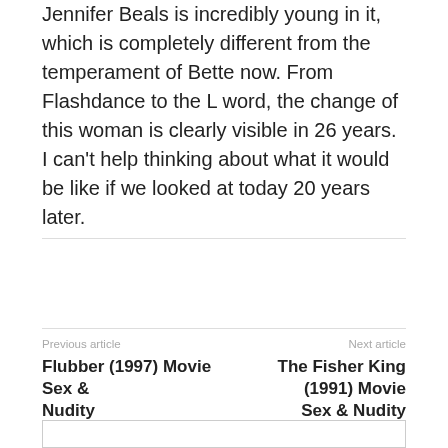Jennifer Beals is incredibly young in it, which is completely different from the temperament of Bette now. From Flashdance to the L word, the change of this woman is clearly visible in 26 years. I can't help thinking about what it would be like if we looked at today 20 years later.
[Figure (other): Facebook Like button showing 0 likes]
Previous article
Flubber (1997) Movie Sex & Nudity
Next article
The Fisher King (1991) Movie Sex & Nudity